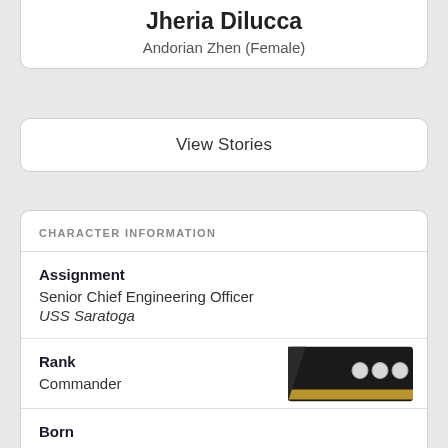Jheria Dilucca
Andorian Zhen (Female)
View Stories
CHARACTER INFORMATION
Assignment
Senior Chief Engineering Officer
USS Saratoga
Rank
Commander
[Figure (illustration): Commander rank insignia badge showing three silver/pearl pips on a dark background with a gold/bronze stripe]
Born
Jheria Dilucca
23640521